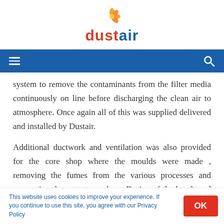dustair
system to remove the contaminants from the filter media continuously on line before discharging the clean air to atmosphere. Once again all of this was supplied delivered and installed by Dustair.
Additional ductwork and ventilation was also provided for the core shop where the moulds were made , removing the fumes from the various processes and evacuating these to atmosphere. Design of the hoods and the ductwork was all within the stairs scope of
This website uses cookies to improve your experience. If you continue to use this site, you agree with our Privacy Policy